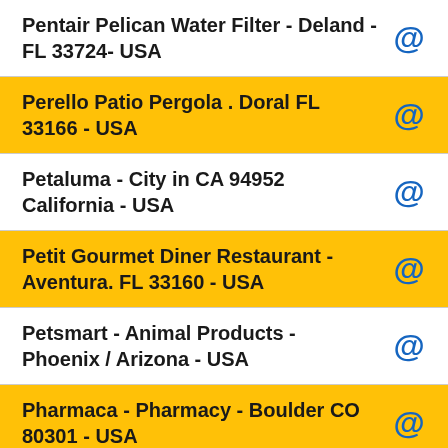Pentair Pelican Water Filter - Deland - FL 33724- USA
Perello Patio Pergola . Doral FL 33166 - USA
Petaluma - City in CA 94952 California - USA
Petit Gourmet Diner Restaurant - Aventura. FL 33160 - USA
Petsmart - Animal Products - Phoenix / Arizona - USA
Pharmaca - Pharmacy - Boulder CO 80301 - USA
Philadel...